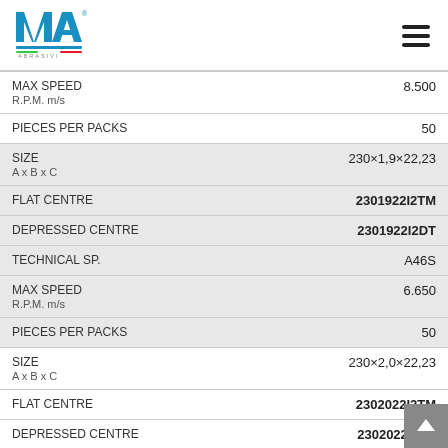[Figure (logo): IMA Abrasivi logo — blue and red company logo with rainbow underline]
| Property | Value |
| --- | --- |
| MAX SPEED
R.P.M. m/s | 8.500 |
| PIECES PER PACKS | 50 |
| SIZE
A x B x C | 230×1,9×22,23 |
| FLAT CENTRE | 2301922I2TM |
| DEPRESSED CENTRE | 2301922I2DT |
| TECHNICAL SP. | A46S |
| MAX SPEED
R.P.M. m/s | 6.650 |
| PIECES PER PACKS | 50 |
| SIZE
A x B x C | 230×2,0×22,23 |
| FLAT CENTRE | 2302022I2TM |
| DEPRESSED CENTRE | 2302022I2DT |
| TECHNICAL SP. | A36S |
| MAX SPEED
R.P.M. m/s | 6.650 |